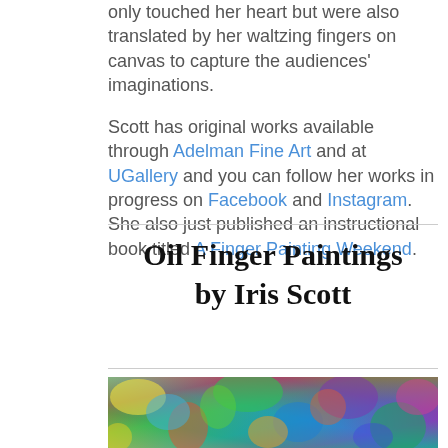only touched her heart but were also translated by her waltzing fingers on canvas to capture the audiences' imaginations.

Scott has original works available through Adelman Fine Art and at UGallery and you can follow her works in progress on Facebook and Instagram. She also just published an instructional book titled A Finger Painting Weekend.
Oil Finger Paintings by Iris Scott
[Figure (photo): Colorful abstract oil finger painting with vivid greens, blues, yellows, reds — a lush impressionistic landscape by Iris Scott]